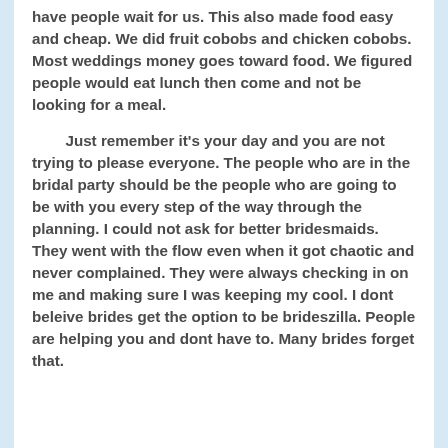have people wait for us. This also made food easy and cheap. We did fruit cobobs and chicken cobobs. Most weddings money goes toward food. We figured people would eat lunch then come and not be looking for a meal.
Just remember it's your day and you are not trying to please everyone. The people who are in the bridal party should be the people who are going to be with you every step of the way through the planning. I could not ask for better bridesmaids. They went with the flow even when it got chaotic and never complained. They were always checking in on me and making sure I was keeping my cool. I dont beleive brides get the option to be brideszilla. People are helping you and dont have to. Many brides forget that.